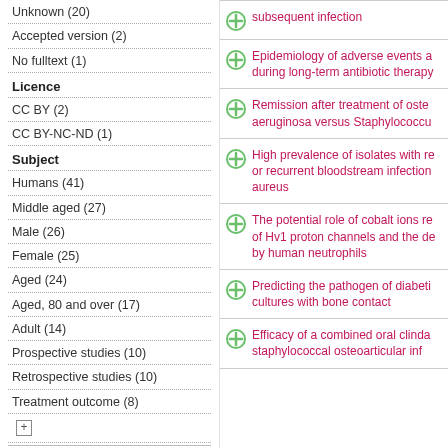Unknown (20)
Accepted version (2)
No fulltext (1)
Licence
CC BY (2)
CC BY-NC-ND (1)
Subject
Humans (41)
Middle aged (27)
Male (26)
Female (25)
Aged (24)
Aged, 80 and over (17)
Adult (14)
Prospective studies (10)
Retrospective studies (10)
Treatment outcome (8)
Deposit
subsequent infection
Epidemiology of adverse events a... during long-term antibiotic therapy
Remission after treatment of oste... aeruginosa versus Staphylococcu...
High prevalence of isolates with re... or recurrent bloodstream infection... aureus
The potential role of cobalt ions re... of Hv1 proton channels and the de... by human neutrophils
Predicting the pathogen of diabeti... cultures with bone contact
Efficacy of a combined oral clinda... staphylococcal osteoarticular inf...